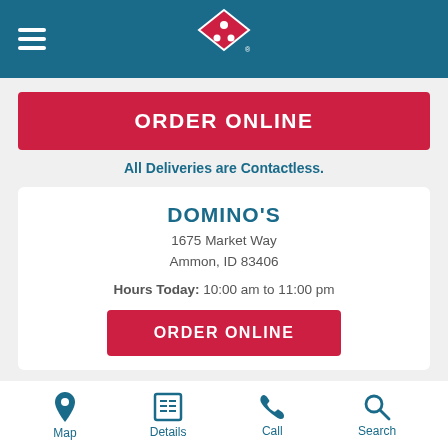[Figure (logo): Domino's Pizza logo — red diamond with white domino dots, centered in teal header bar with hamburger menu icon on the left]
ORDER ONLINE
All Deliveries are Contactless.
DOMINO'S
1675 Market Way
Ammon, ID 83406
Hours Today: 10:00 am to 11:00 pm
ORDER ONLINE
[Figure (infographic): Bottom navigation bar with four teal icons: Map (pin), Details (newspaper), Call (phone), Search (magnifying glass)]